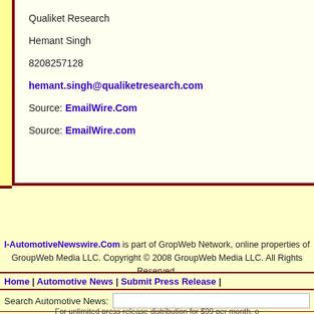Qualiket Research
Hemant Singh
8208257128
hemant.singh@qualiketresearch.com
Source: EmailWire.Com
Source: EmailWire.com
I-AutomotiveNewswire.Com is part of GropWeb Network, online properties of GroupWeb Media LLC. Copyright © 2008 GroupWeb Media LLC. All Rights Reserved.
Home | Automotive News | Submit Press Release |
Search Automotive News:
For unlimited press release distribution for $99 per month, o